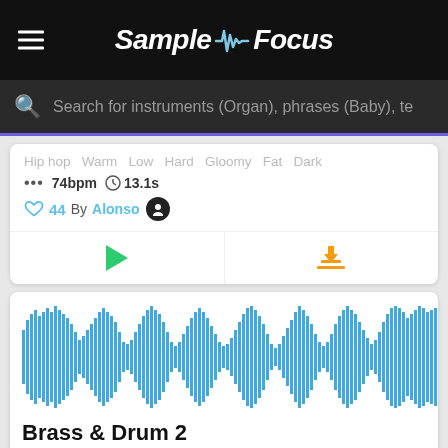SampleFocus
Search for instruments (Organ), phrases (Baby), te
Hip hop  Warm  Low  Hard  Gloomy  Fat  Dark
••• 74bpm  ⏱ 13.1s
♡ 44  By Alonso
[Figure (screenshot): Play button (green triangle) and download button (orange download icon) in card action row]
[Figure (continuous-plot): Blue audio waveform for Brass & Drum 2 sample]
Brass & Drum 2
Staccato/stabs  Percussive  Echoing  Dark  Boomy